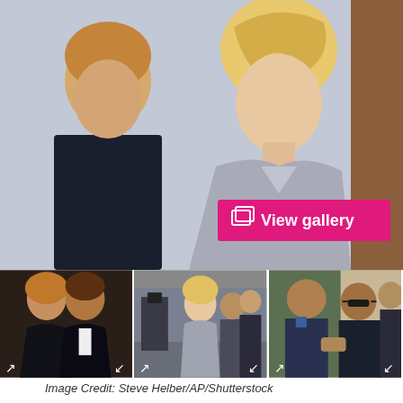[Figure (photo): Main courtroom photo: blonde woman in gray blazer standing with another woman in dark jacket, courtroom background. Pink 'View gallery' button overlay in center-bottom area.]
[Figure (photo): Thumbnail 1: Couple at formal event — woman in black dress and man in tuxedo.]
[Figure (photo): Thumbnail 2: Blonde woman in gray suit walking outside building, media/camera crew visible.]
[Figure (photo): Thumbnail 3: Man in dark suit with sunglasses shaking hands outside building with people around.]
Image Credit: Steve Helber/AP/Shutterstock